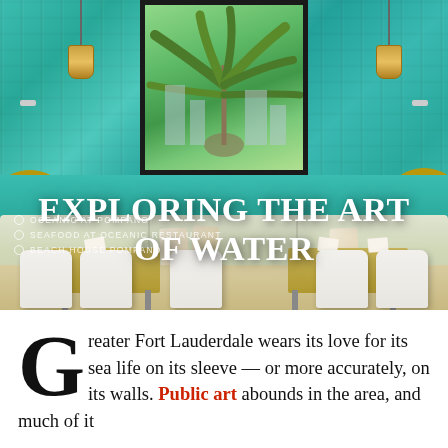[Figure (photo): Interior of a coastal restaurant with teal wood-plank walls, pendant lamps, round mirrors, a large palm tree painting, cream upholstered banquette seating, white chairs, and wooden tables. Title text 'EXPLORING THE ART OF WATER' overlaid in white.]
OCEANIC AT POMPANO
SEAFOOD AT OCEANIC RESTAURANT
BEACH HOUSE POMPANO
Greater Fort Lauderdale wears its love for its sea life on its sleeve — or more accurately, on its walls. Public art abounds in the area, and much of it